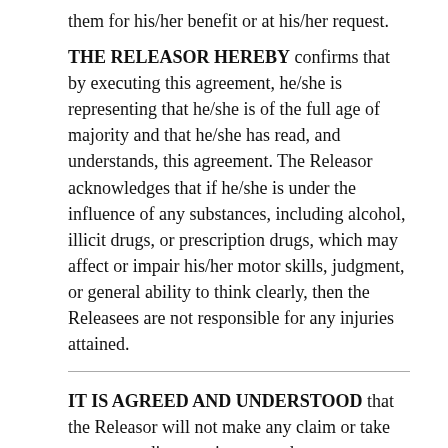them for his/her benefit or at his/her request.
THE RELEASOR HEREBY confirms that by executing this agreement, he/she is representing that he/she is of the full age of majority and that he/she has read, and understands, this agreement. The Releasor acknowledges that if he/she is under the influence of any substances, including alcohol, illicit drugs, or prescription drugs, which may affect or impair his/her motor skills, judgment, or general ability to think clearly, then the Releasees are not responsible for any injuries attained.
IT IS AGREED AND UNDERSTOOD that the Releasor will not make any claim or take any proceedings against any other person or corporation who might claim, in any manner or forum, contribution or indemnity in common law or in equity, or under the provisions of any statute